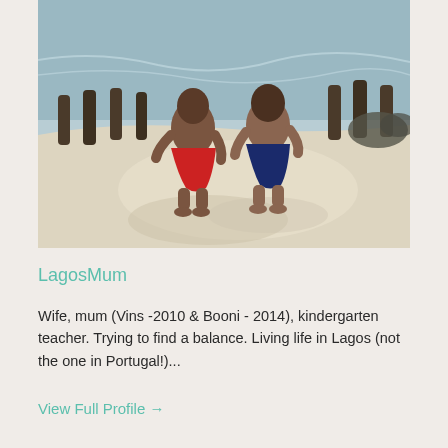[Figure (photo): Two young children sitting on a sandy beach with their backs to the camera. One child wears red shorts, the other dark blue shorts. Wooden posts are visible in the background near the water.]
LagosMum
Wife, mum (Vins -2010 & Booni - 2014), kindergarten teacher. Trying to find a balance. Living life in Lagos (not the one in Portugal!)...
View Full Profile →